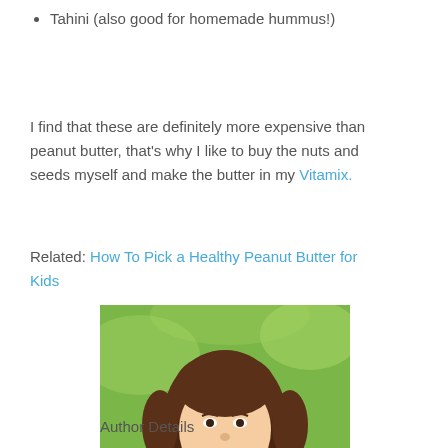Tahini (also good for homemade hummus!)
I find that these are definitely more expensive than peanut butter, that’s why I like to buy the nuts and seeds myself and make the butter in my Vitamix.
Related: How To Pick a Healthy Peanut Butter for Kids
[Figure (photo): Portrait photo of a smiling woman with long curly brown hair wearing a pink top, photographed outdoors against a green background.]
Author Details